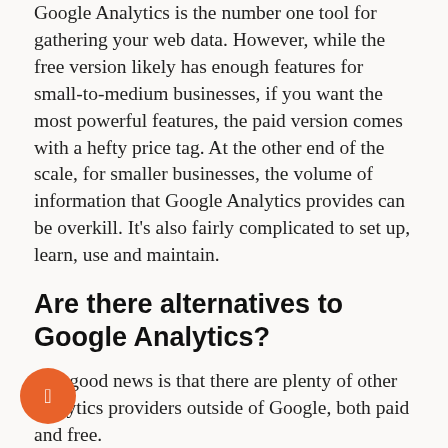Google Analytics is the number one tool for gathering your web data. However, while the free version likely has enough features for small-to-medium businesses, if you want the most powerful features, the paid version comes with a hefty price tag. At the other end of the scale, for smaller businesses, the volume of information that Google Analytics provides can be overkill. It's also fairly complicated to set up, learn, use and maintain.
Are there alternatives to Google Analytics?
The good news is that there are plenty of other analytics providers outside of Google, both paid and free.